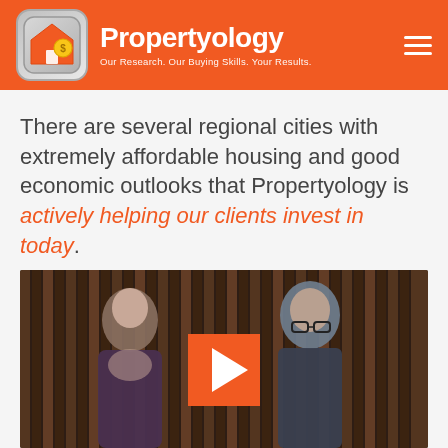Propertyology — Our Research. Our Buying Skills. Your Results.
There are several regional cities with extremely affordable housing and good economic outlooks that Propertyology is actively helping our clients invest in today.
[Figure (photo): Video thumbnail showing two people (a woman on the left and a man on the right) in front of a wood slat wall, with an orange play button overlay in the center.]